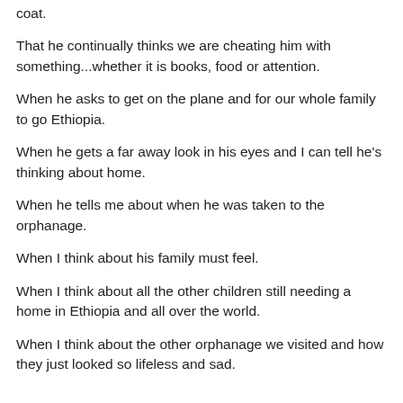coat.
That he continually thinks we are cheating him with something...whether it is books, food or attention.
When he asks to get on the plane and for our whole family to go Ethiopia.
When he gets a far away look in his eyes and I can tell he's thinking about home.
When he tells me about when he was taken to the orphanage.
When I think about his family must feel.
When I think about all the other children still needing a home in Ethiopia and all over the world.
When I think about the other orphanage we visited and how they just looked so lifeless and sad.